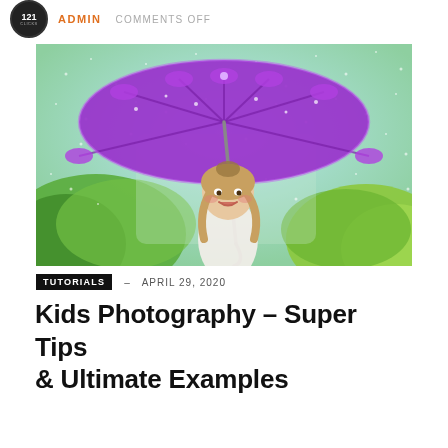121 CLICKS  ADMIN  COMMENTS OFF
[Figure (photo): Young girl smiling and holding a large purple umbrella in the rain, green foliage background, water droplets visible]
TUTORIALS – APRIL 29, 2020
Kids Photography – Super Tips & Ultimate Examples